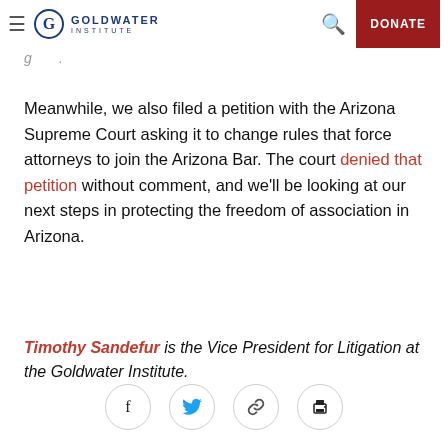Goldwater Institute — DONATE
Meanwhile, we also filed a petition with the Arizona Supreme Court asking it to change rules that force attorneys to join the Arizona Bar. The court denied that petition without comment, and we'll be looking at our next steps in protecting the freedom of association in Arizona.
Timothy Sandefur is the Vice President for Litigation at the Goldwater Institute.